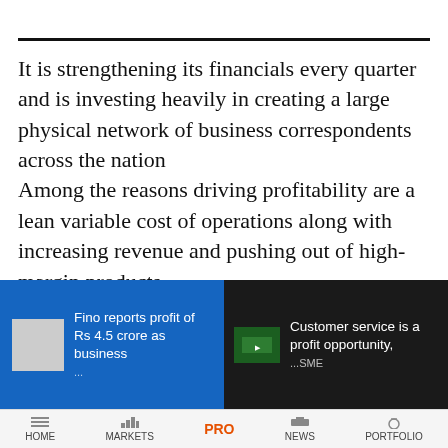It is strengthening its financials every quarter and is investing heavily in creating a large physical network of business correspondents across the nation
Among the reasons driving profitability are a lean variable cost of operations along with increasing revenue and pushing out of high-margin products.
Despite the pandemic posing a major challenge,
[Figure (screenshot): Bottom navigation bar overlay with two news teasers: left panel (blue) shows 'Fino reports profit of Rs 4.5 crore as business...' with a grey image placeholder; right panel (dark) shows 'Customer service is a profit opportunity...' with a green image thumbnail. Below is a navigation bar with HOME, MARKETS, PRO, NEWS, PORTFOLIO.]
HOME  MARKETS  PRO  NEWS  PORTFOLIO